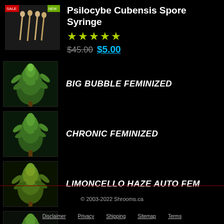[Figure (photo): Psilocybe Cubensis Spore Syringe product image thumbnail with sale badge]
Psilocybe Cubensis Spore Syringe
[Figure (other): 5-star rating display in green/yellow stars]
$45.00 $5.00
[Figure (photo): BIG BUBBLE FEMINIZED cannabis plant thumbnail]
BIG BUBBLE FEMINIZED
[Figure (photo): CHRONIC FEMINIZED cannabis plant thumbnail]
CHRONIC FEMINIZED
[Figure (photo): LIMONCELLO HAZE AUTO FEM cannabis plant thumbnail]
LIMONCELLO HAZE AUTO FEM
[Figure (photo): STARDUST FEMINIZED cannabis plant thumbnail]
STARDUST FEMINIZED
© 2003-2022 Shrooms.ca
Disclaimer   Privacy   Shipping   Sitemap   Terms